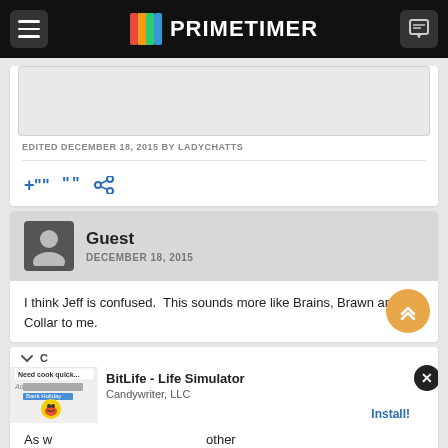PRIMETIMER
EDITED DECEMBER 18, 2015 BY LADYCHATTS
[Figure (screenshot): Action icons: +quote, quote, share]
Guest
DECEMBER 18, 2015
I think Jeff is confused.  This sounds more like Brains, Brawn and No Collar to me.
[Figure (screenshot): Ad for BitLife - Life Simulator by Candywriter, LLC with Install button]